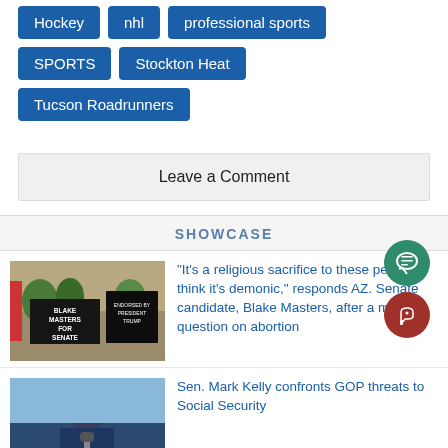Hockey
nhl
professional sports
SPORTS
Stockton Heat
Tucson Roadrunners
Leave a Comment
SHOWCASE
[Figure (photo): Protest sign reading BLAKE MASTERS FOR SENATE with another sign partially visible]
“It’s a religious sacrifice to these people, I think it’s demonic,” responds AZ. Senate candidate, Blake Masters, after a media question on abortion
[Figure (photo): Man in dark suit speaking at a microphone, likely Sen. Mark Kelly]
Sen. Mark Kelly confronts GOP threats to Social Security